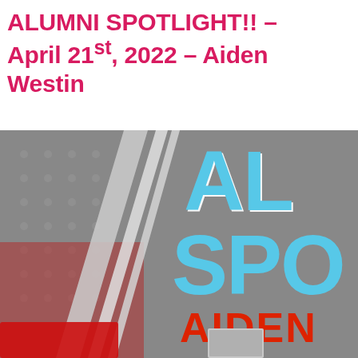ALUMNI SPOTLIGHT!! – April 21st, 2022 – Aiden Westin
[Figure (illustration): Alumni Spotlight graphic banner showing large cyan/light-blue bold text 'AL' and 'SPO' partially visible, with 'AIDEN' in red bold text below, set against a grey background with diagonal silver stripe design and dot pattern. Bottom portion shows partially visible red puzzle piece and a small photo thumbnail. The image is cropped on the right side.]